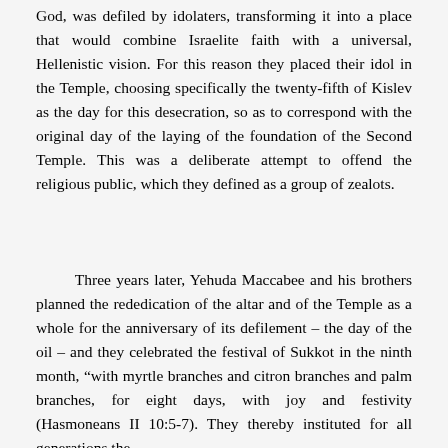God, was defiled by idolaters, transforming it into a place that would combine Israelite faith with a universal, Hellenistic vision. For this reason they placed their idol in the Temple, choosing specifically the twenty-fifth of Kislev as the day for this desecration, so as to correspond with the original day of the laying of the foundation of the Second Temple. This was a deliberate attempt to offend the religious public, which they defined as a group of zealots.
Three years later, Yehuda Maccabee and his brothers planned the rededication of the altar and of the Temple as a whole for the anniversary of its defilement – the day of the oil – and they celebrated the festival of Sukkot in the ninth month, "with myrtle branches and citron branches and palm branches, for eight days, with joy and festivity (Hasmoneans II 10:5-7). They thereby instituted for all generations the